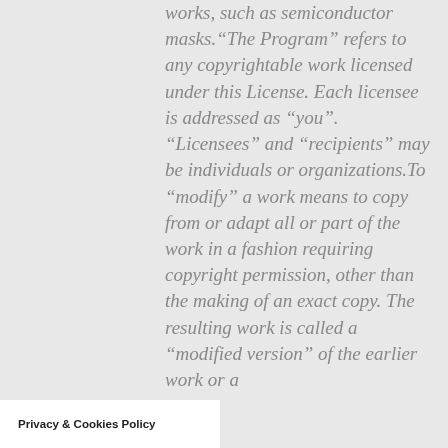works, such as semiconductor masks.“The Program” refers to any copyrightable work licensed under this License. Each licensee is addressed as “you”. “Licensees” and “recipients” may be individuals or organizations.To “modify” a work means to copy from or adapt all or part of the work in a fashion requiring copyright permission, other than the making of an exact copy. The resulting work is called a “modified version” of the earlier work or a
Privacy & Cookies Policy